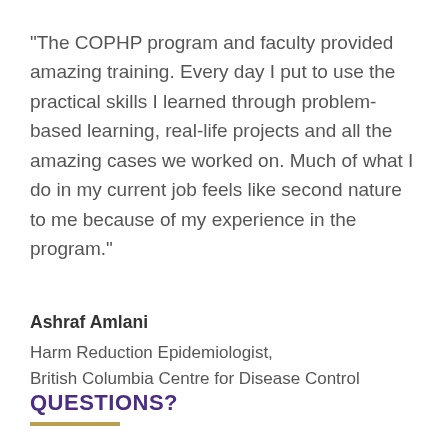"The COPHP program and faculty provided amazing training. Every day I put to use the practical skills I learned through problem-based learning, real-life projects and all the amazing cases we worked on. Much of what I do in my current job feels like second nature to me because of my experience in the program."
Ashraf Amlani
Harm Reduction Epidemiologist,
British Columbia Centre for Disease Control
QUESTIONS?